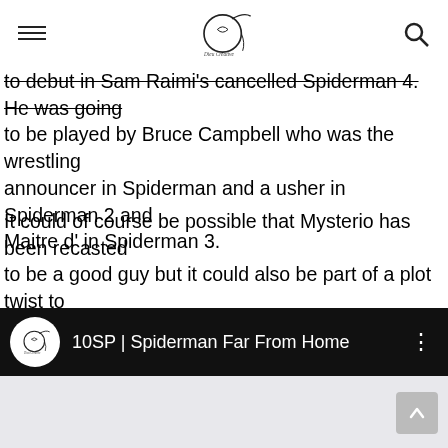[Logo: decorative script O with swash] [Hamburger menu icon] [Search icon]
to debut in Sam Raimi's cancelled Spiderman 4. He was going to be played by Bruce Campbell who was the wrestling announcer in Spiderman and a usher in Spiderman 2 and Maitre d' in Spiderman 3.
It could of course be possible that Mysterio has been recasted to be a good guy but it could also be part of a plot twist to make it a bit more interesting. Either way, we can rest assured that Marvel will give us another solid offering, and I have my popcorn at the ready.
[Figure (screenshot): Black video bar with white circular logo on left, text '10SP | Spiderman Far From Home' in white, and three-dot menu icon on right]